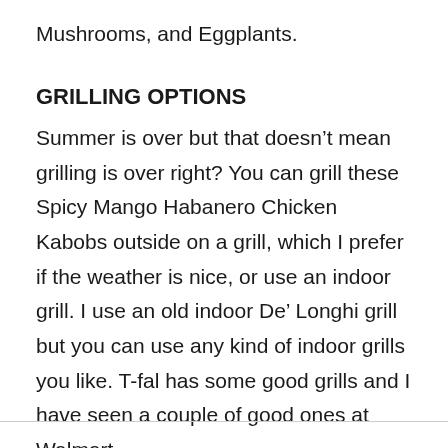Mushrooms, and Eggplants.
GRILLING OPTIONS
Summer is over but that doesn’t mean grilling is over right? You can grill these Spicy Mango Habanero Chicken Kabobs outside on a grill, which I prefer if the weather is nice, or use an indoor grill. I use an old indoor De’ Longhi grill but you can use any kind of indoor grills you like. T-fal has some good grills and I have seen a couple of good ones at Walmart.